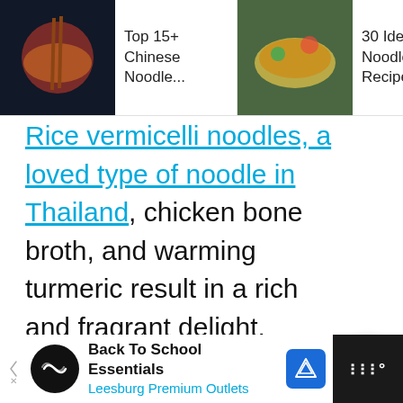[Figure (screenshot): Navigation bar with three food article links: 'Top 15+ Chinese Noodle...' with dark food image, '30 Ideal Noodle Recipes For...' with colorful noodle image, '16+ Delicious Rice Noodle Recipes To' with bowl image and cyan arrow]
Rice vermicelli noodles, a loved type of noodle in Thailand, chicken bone broth, and warming turmeric result in a rich and fragrant delight.
[Figure (screenshot): UI action buttons on right side: scroll-up chevron button (white circle), vote count '16' in cyan, heart/like button (white circle), cyan search button (filled circle)]
[Figure (screenshot): Advertisement banner: 'Back To School Essentials / Leesburg Premium Outlets' with black logo circle, left arrow, navigation icon, and dark right panel with weather widget icon]